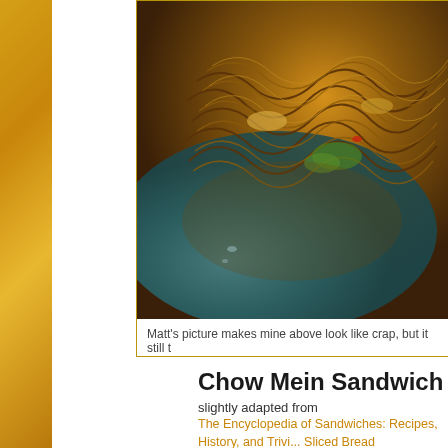[Figure (photo): Photo of chow mein noodles on a blue plate with vegetables and sauce]
Matt's picture makes mine above look like crap, but it still t
Chow Mein Sandwich
slightly adapted from
The Encyclopedia of Sandwiches: Recipes, History, and Trivi... Sliced Bread
Ingredients
2 yellow onions, cut into small wedges
1 stalks celery, thinly sliced using the whole stalk and leaves
2 leaves napa cabbage, thinly sliced
1/2 cup bean sprouts
4 cups chicken broth (divided)
1/4 cup cornstarch
1 Tbsp Kitchen Bouquet